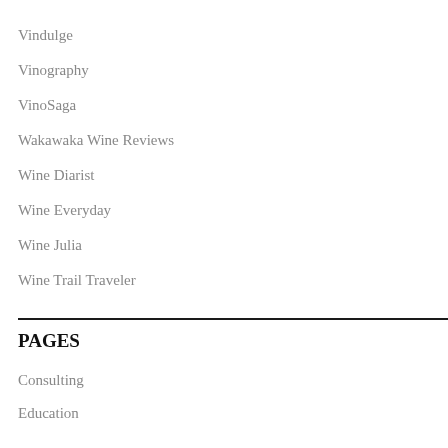Vindulge
Vinography
VinoSaga
Wakawaka Wine Reviews
Wine Diarist
Wine Everyday
Wine Julia
Wine Trail Traveler
PAGES
Consulting
Education